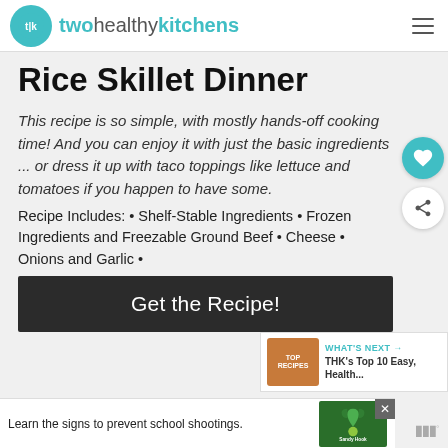twohealthykitchens
Rice Skillet Dinner
This recipe is so simple, with mostly hands-off cooking time! And you can enjoy it with just the basic ingredients ... or dress it up with taco toppings like lettuce and tomatoes if you happen to have some.
Recipe Includes: • Shelf-Stable Ingredients • Frozen Ingredients and Freezable Ground Beef • Cheese • Onions and Garlic •
Get the Recipe!
WHAT'S NEXT → THK's Top 10 Easy, Health...
Learn the signs to prevent school shootings.